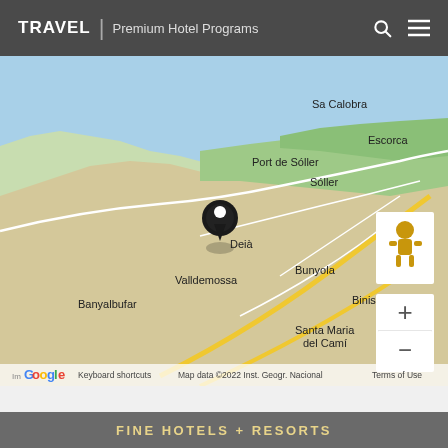TRAVEL | Premium Hotel Programs
[Figure (map): Google Map showing northwestern Mallorca, Spain. A black location pin is placed at Deià. Visible place names include Sa Calobra, Escorca, Port de Sóller, Sóller, Valldemossa, Bunyola, Binissalem, Banyalbufar, Santa Maria del Camí. The map shows coastline, green hills, and roads. Google Street View pegman and zoom controls are visible. Map footer shows Google logo, Keyboard shortcuts, Map data ©2022 Inst. Geogr. Nacional, Terms of Use.]
FINE HOTELS + RESORTS